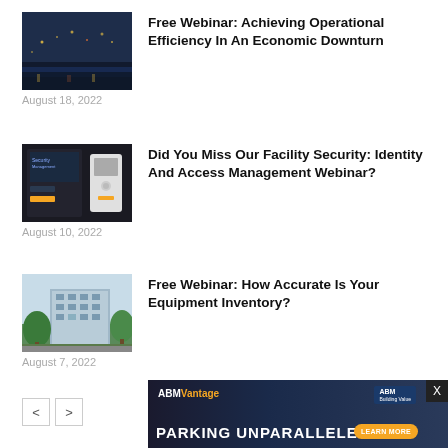[Figure (photo): Aerial night view of a city with lights and river]
Free Webinar: Achieving Operational Efficiency In An Economic Downturn
August 18, 2022
[Figure (photo): Security management screen with access control device]
Did You Miss Our Facility Security: Identity And Access Management Webinar?
August 10, 2022
[Figure (photo): Modern office building exterior with trees]
Free Webinar: How Accurate Is Your Equipment Inventory?
August 7, 2022
[Figure (infographic): ABM Vantage advertisement banner: PARKING UNPARALLELED - Learn More]